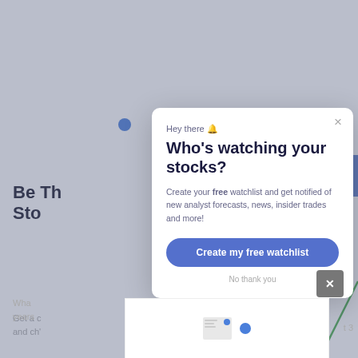Be Th... Sto...
Get a c... and ch...
Enter you
[Figure (screenshot): Background webpage showing stock-related content partially covered by a modal popup]
Who's watching your stocks?
Hey there 🔔
Create your free watchlist and get notified of new analyst forecasts, news, insider trades and more!
Create my free watchlist
No thank you
What... t 3 years